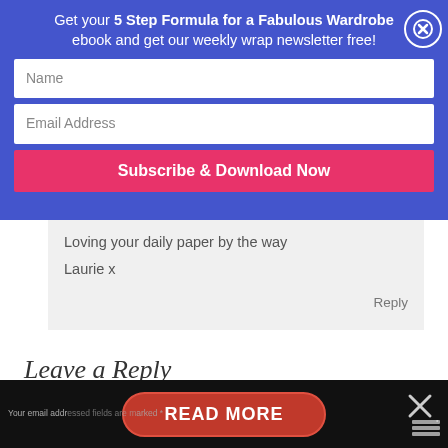Get your 5 Step Formula for a Fabulous Wardrobe ebook and get our weekly wrap newsletter free!
Name
Email Address
Subscribe & Download Now
Loving your daily paper by the way
Laurie x
Reply
Leave a Reply
Your email address will not be published. Required fields are marked *
READ MORE